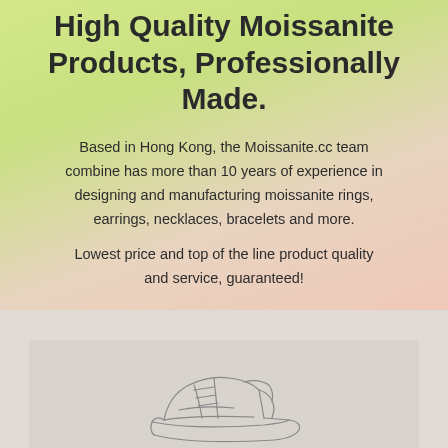High Quality Moissanite Products, Professionally Made.
Based in Hong Kong, the Moissanite.cc team combine has more than 10 years of experience in designing and manufacturing moissanite rings, earrings, necklaces, bracelets and more.
Lowest price and top of the line product quality and service, guaranteed!
[Figure (illustration): Partial outline illustration of a shoe/sneaker visible at the bottom of the page on a light beige-gray background panel.]